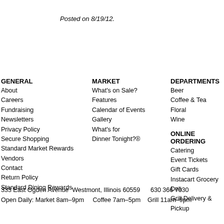Posted on 8/19/12.
GENERAL
About
Careers
Fundraising
Newsletters
Privacy Policy
Secure Shopping
Standard Market Rewards
Vendors
Contact
Return Policy
Standard Dining Rewards
MARKET
What's on Sale?
Features
Calendar of Events
Gallery
What's for Dinner Tonight?®
DEPARTMENTS
Beer
Coffee & Tea
Floral
Wine
ONLINE ORDERING
Catering
Event Tickets
Gift Cards
Instacart Grocery Deli
Grill Delivery & Pickup
333 East Ogden Avenue  Westmont, Illinois 60559     630 366 7030
Open Daily: Market 8am–9pm    Coffee 7am–5pm   Grill 11am–9pm